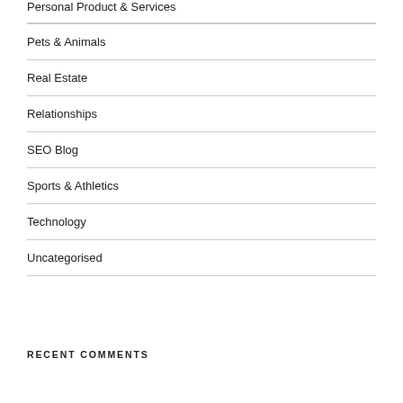Personal Product & Services
Pets & Animals
Real Estate
Relationships
SEO Blog
Sports & Athletics
Technology
Uncategorised
RECENT COMMENTS